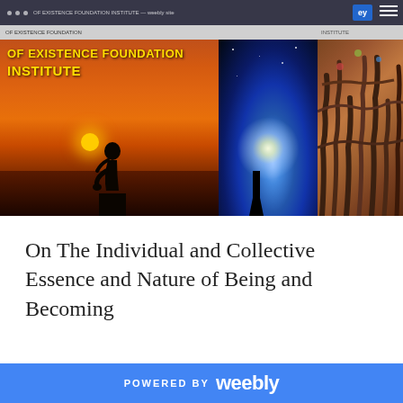[Figure (photo): Website screenshot showing a composite banner image for 'Of Existence Foundation Institute' with three panels: left panel shows a silhouette of a person thinking against a sunset with orange sky and sun reflection; center panel shows a galaxy/space image with blue light; right panel shows a crowd of people with raised hands/arms. A navigation bar is at the top.]
On The Individual and Collective Essence and Nature of Being and Becoming
POWERED BY weebly